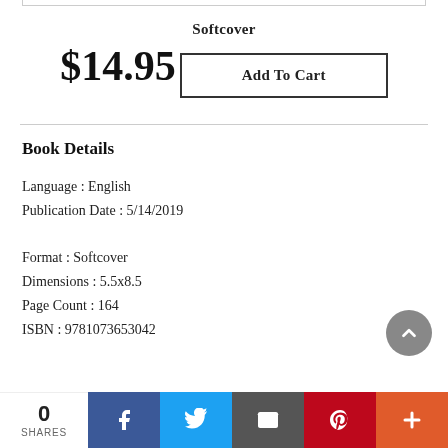Softcover
$14.95
Add To Cart
Book Details
Language : English
Publication Date : 5/14/2019
Format : Softcover
Dimensions : 5.5x8.5
Page Count : 164
ISBN : 9781073653042
0
SHARES